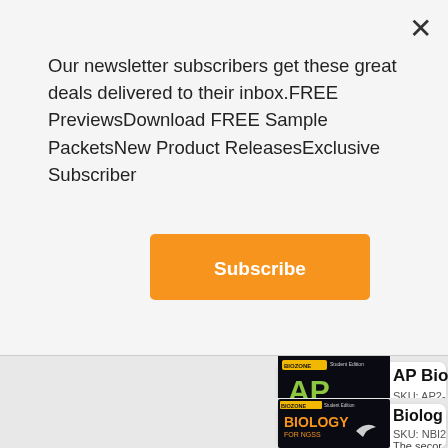Our newsletter subscribers get these great deals delivered to their inbox.FREE PreviewsDownload FREE Sample PacketsNew Product ReleasesExclusive Subscriber
[Figure (other): Orange Subscribe button]
[Figure (photo): AP Biology 2 Student Edition book cover showing a frog on a dark background]
AP Bio
SKU: AP2-
BIOZONE Biology C learning e resource t Edition is extension
[Figure (photo): Biology for NGSS Student Edition book cover]
Biolog
SKU: NBI2
The secor